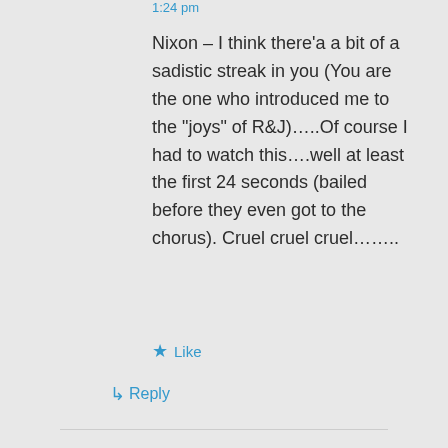1:24 pm
Nixon – I think there’a a bit of a sadistic streak in you (You are the one who introduced me to the “joys” of R&J)…..Of course I had to watch this….well at least the first 24 seconds (bailed before they even got to the chorus). Cruel cruel cruel……..
Like
Reply